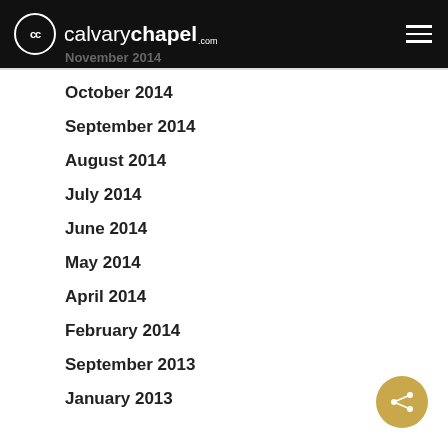calvary chapel .com
November 2014
October 2014
September 2014
August 2014
July 2014
June 2014
May 2014
April 2014
February 2014
September 2013
January 2013